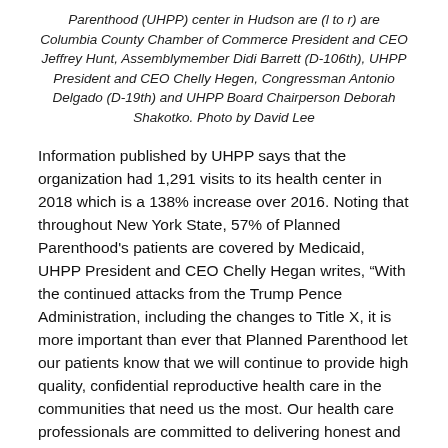Parenthood (UHPP) center in Hudson are (l to r) are Columbia County Chamber of Commerce President and CEO Jeffrey Hunt, Assemblymember Didi Barrett (D-106th), UHPP President and CEO Chelly Hegen, Congressman Antonio Delgado (D-19th) and UHPP Board Chairperson Deborah Shakotko. Photo by David Lee
Information published by UHPP says that the organization had 1,291 visits to its health center in 2018 which is a 138% increase over 2016. Noting that throughout New York State, 57% of Planned Parenthood's patients are covered by Medicaid, UHPP President and CEO Chelly Hegan writes, “With the continued attacks from the Trump Pence Administration, including the changes to Title X, it is more important than ever that Planned Parenthood let our patients know that we will continue to provide high quality, confidential reproductive health care in the communities that need us the most. Our health care professionals are committed to delivering honest and complete information to our patients.”
Share this: